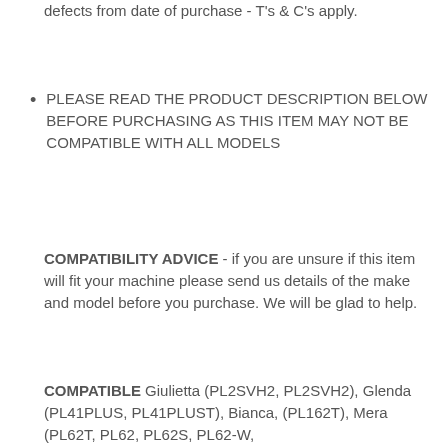defects from date of purchase - T's & C's apply.
PLEASE READ THE PRODUCT DESCRIPTION BELOW BEFORE PURCHASING AS THIS ITEM MAY NOT BE COMPATIBLE WITH ALL MODELS
COMPATIBILITY ADVICE - if you are unsure if this item will fit your machine please send us details of the make and model before you purchase. We will be glad to help.
COMPATIBLE Giulietta (PL2SVH2, PL2SVH2), Glenda (PL41PLUS, PL41PLUST), Bianca, (PL162T), Mera (PL62T, PL62, PL62S, PL62-W,